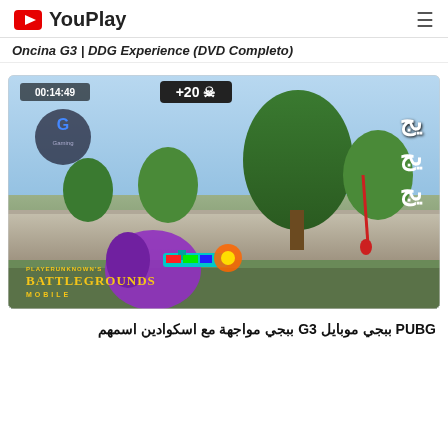YouPlay
Oncina G3 | DDG Experience (DVD Completo)
[Figure (screenshot): PUBG Mobile gameplay thumbnail showing a character with colorful weapon skin, timer 00:14:49, +20 kill badge, Arabic text overlay, BATTLEGROUNDS MOBILE logo, and Gaming logo]
PUBG ببجي موبايل G3 ببجي مواجهة مع اسكوادين اسمهم